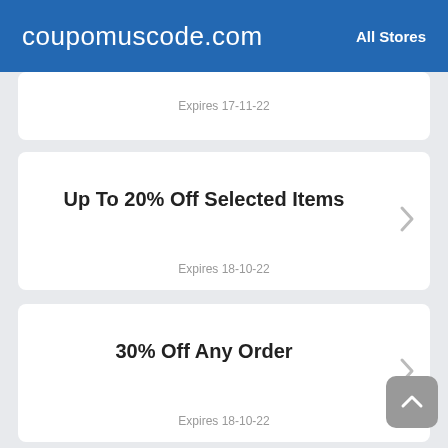coupomuscode.com | All Stores
Expires 17-11-22
Up To 20% Off Selected Items
Expires 18-10-22
30% Off Any Order
Expires 18-10-22
Cut Up To 30% Off Selected Items